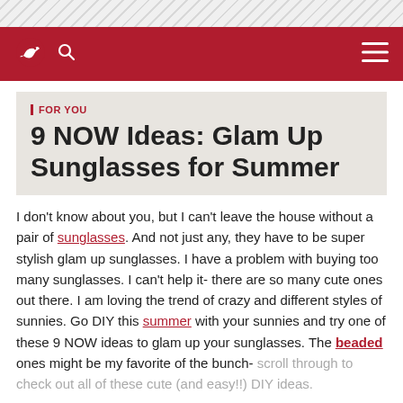Navigation header with bird logo, search icon, and hamburger menu
FOR YOU
9 NOW Ideas: Glam Up Sunglasses for Summer
I don't know about you, but I can't leave the house without a pair of sunglasses. And not just any, they have to be super stylish glam up sunglasses. I have a problem with buying too many sunglasses. I can't help it- there are so many cute ones out there. I am loving the trend of crazy and different styles of sunnies. Go DIY this summer with your sunnies and try one of these 9 NOW ideas to glam up your sunglasses. The beaded ones might be my favorite of the bunch- scroll through to check out all of these cute (and easy!!) DIY ideas.